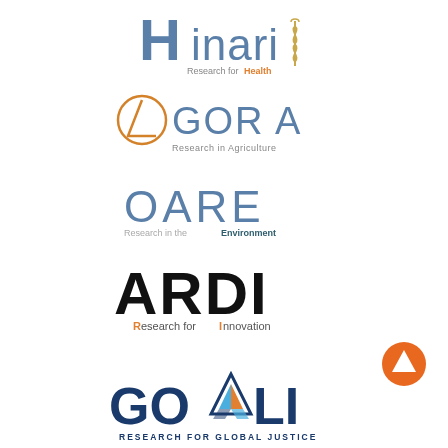[Figure (logo): Hinari - Research for Health logo with caduceus symbol, blue and orange text]
[Figure (logo): AGORA - Research in Agriculture logo with circular triangle emblem in orange]
[Figure (logo): OARE - Research in the Environment logo in blue and dark teal]
[Figure (logo): ARDI - Research for Innovation logo in black with orange R and I]
[Figure (logo): GOALI - Research for Global Justice logo with colorful triangle emblem]